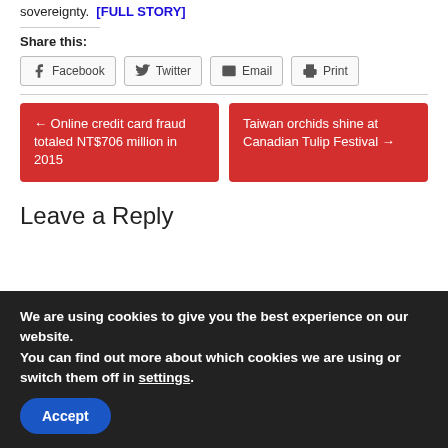sovereignty.  [FULL STORY]
Share this:
Facebook  Twitter  Email  Print
← Online credit card fraud totaled NT$706 million in 2015
Taiwan orchids shine at Canadian Tulip Festival →
Leave a Reply
We are using cookies to give you the best experience on our website.
You can find out more about which cookies we are using or switch them off in settings.
Accept